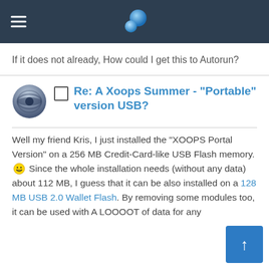XOOPS (header with logo and hamburger menu)
If it does not already, How could I get this to Autorun?
Re: A Xoops Summer - "Portable" version USB?
Well my friend Kris, I just installed the "XOOPS Portal Version" on a 256 MB Credit-Card-like USB Flash memory. Since the whole installation needs (without any data) about 112 MB, I guess that it can be also installed on a 128 MB USB 2.0 Wallet Flash. By removing some modules too, it can be used with A LOOOOT of data for any